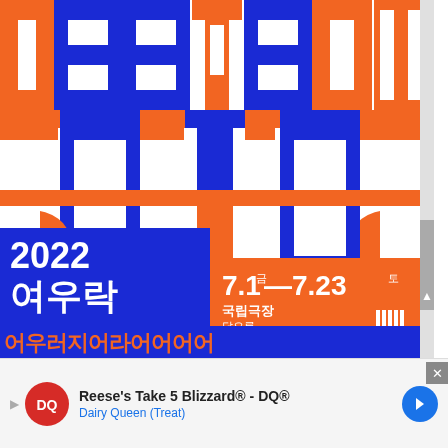[Figure (illustration): 2022 여우락 페스티벌 festival poster with bold orange and blue graphic Korean typography design. Large decorative Korean characters fill the upper portion. A blue box in lower-left reads '2022 여우락 페스티벌'. An orange box shows dates '7.1금-7.23토' and venue '국립극장 달오름 하늘 문화광장'. Bottom strip shows partial Korean text in orange on blue.]
Reese's Take 5 Blizzard® - DQ®
Dairy Queen (Treat)